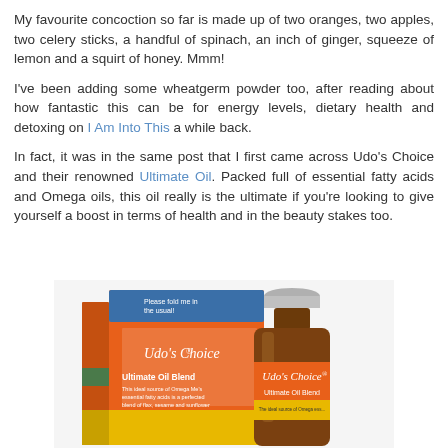My favourite concoction so far is made up of two oranges, two apples, two celery sticks, a handful of spinach, an inch of ginger, squeeze of lemon and a squirt of honey. Mmm!
I've been adding some wheatgerm powder too, after reading about how fantastic this can be for energy levels, dietary health and detoxing on I Am Into This a while back.
In fact, it was in the same post that I first came across Udo's Choice and their renowned Ultimate Oil. Packed full of essential fatty acids and Omega oils, this oil really is the ultimate if you're looking to give yourself a boost in terms of health and in the beauty stakes too.
[Figure (photo): Photo of Udo's Choice Ultimate Oil Blend product - orange box packaging next to an amber glass bottle with orange and yellow label reading Udo's Choice Ultimate Oil Blend]